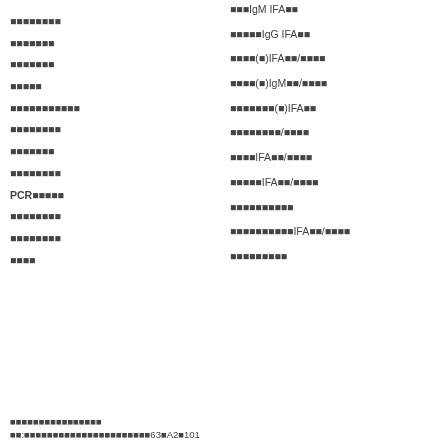■■■■■■■■
■■■■■■■
■■■■■■■
■■■■■
■■■■■■■■■■■
■■■■■■■■
■■■■■■■
■■■■■■■■
PCR■■■■■
■■■■■■■■
■■■■■■■■
■■■■
■■■IgM IFA■■
■■■■■IgG IFA■■
■■■■(■)IFA■■/■■■■
■■■■(■)IgM■■/■■■■
■■■■■■■(■)IFA■■
■■■■■■■■/■■■■
■■■■IFA■■/■■■■
■■■■■IFA■■/■■■■
■■■■■■■■■■
■■■■■■■■■■IFA■■/■■■■
■■■■■■■■■
■■■■■■■■■■■■■■■■
■■:■■■■■■■■■■■■■■■■■■■■■■63■A2■101